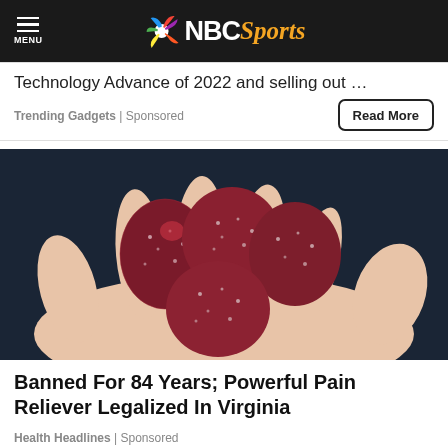NBC Sports
Technology Advance of 2022 and selling out …
Trending Gadgets | Sponsored
[Figure (photo): A hand holding several dark red sugar-coated gummy candies against a dark background]
Banned For 84 Years; Powerful Pain Reliever Legalized In Virginia
Health Headlines | Sponsored